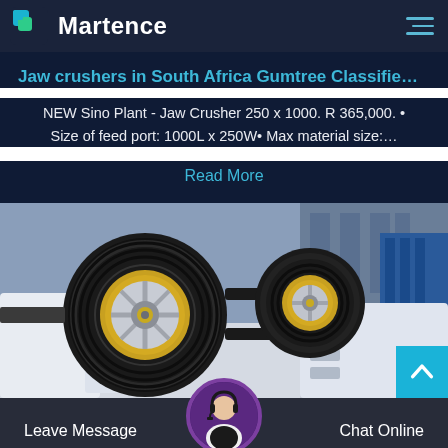Martence
Jaw crushers in South Africa Gumtree Classifie…
NEW Sino Plant - Jaw Crusher 250 x 1000. R 365,000. • Size of feed port: 1000L x 250W• Max material size:…
Read More
[Figure (photo): Industrial jaw crusher machinery with large black and yellow drive wheels/pulleys in a factory setting]
Leave Message
Chat Online